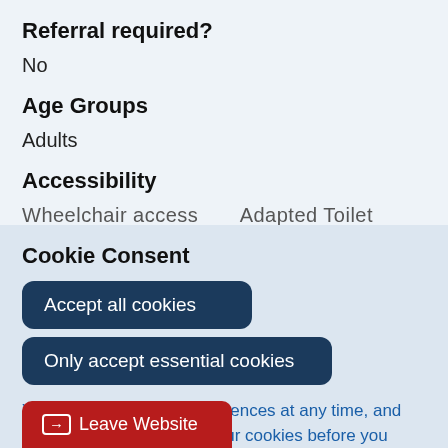Referral required?
No
Age Groups
Adults
Accessibility
Wheelchair access... Adapted Toilet...
Cookie Consent
Accept all cookies
Only accept essential cookies
You can change your preferences at any time, and you can read more about our cookies before you choose.
Leave Website